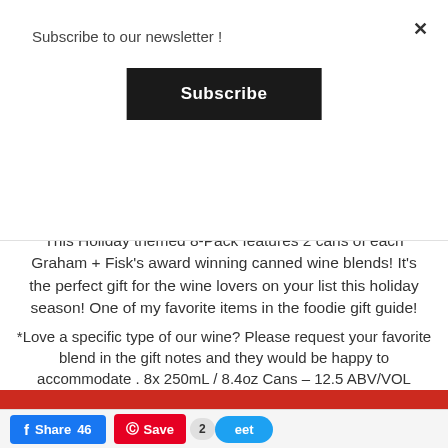Subscribe to our newsletter !
Subscribe
This Holiday themed 8-Pack features 2 cans of each Graham + Fisk's award winning canned wine blends! It's the perfect gift for the wine lovers on your list this holiday season! One of my favorite items in the foodie gift guide!
*Love a specific type of our wine? Please request your favorite blend in the gift notes and they would be happy to accommodate . 8x 250mL / 8.4oz Cans – 12.5 ABV/VOL
USE CODE BUSY15 to
Share 46  Save  2  eet